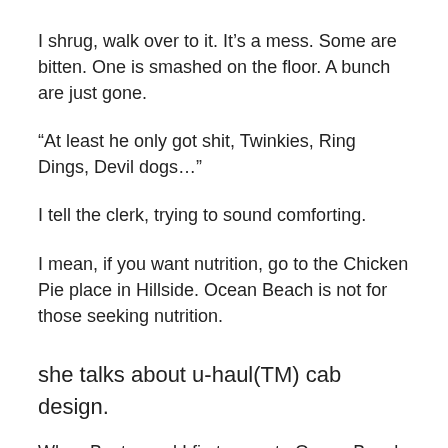I shrug, walk over to it. It's a mess. Some are bitten. One is smashed on the floor. A bunch are just gone.
“At least he only got shit, Twinkies, Ring Dings, Devil dogs...”
I tell the clerk, trying to sound comforting.
I mean, if you want nutrition, go to the Chicken Pie place in Hillside. Ocean Beach is not for those seeking nutrition.
she talks about u-haul(TM) cab design.
When Buster and I first came to Ocean Beach we slept in the cab of the U-Haul for a week with all our stuff in the back. I slept curled around the hump in the middle of the floor. Bust slept on the seat. That was right after John